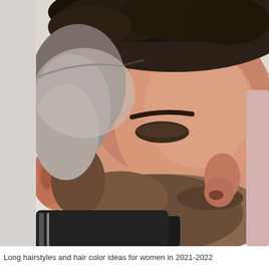[Figure (photo): Close-up side profile photo of a man with a high fade haircut, dark curly hair on top, and a short groomed beard. He is wearing a black barber cape. The background is light/white.]
Long hairstyles and hair color ideas for women in 2021-2022